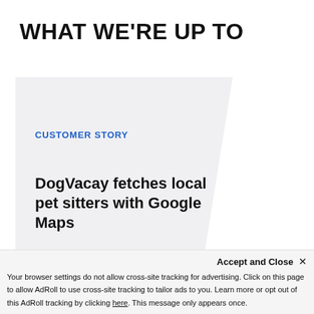WHAT WE'RE UP TO
CUSTOMER STORY
DogVacay fetches local pet sitters with Google Maps
Accept and Close ×
Your browser settings do not allow cross-site tracking for advertising. Click on this page to allow AdRoll to use cross-site tracking to tailor ads to you. Learn more or opt out of this AdRoll tracking by clicking here. This message only appears once.